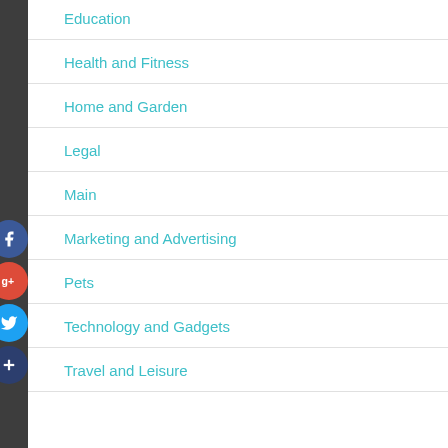Education
Health and Fitness
Home and Garden
Legal
Main
Marketing and Advertising
Pets
Technology and Gadgets
Travel and Leisure